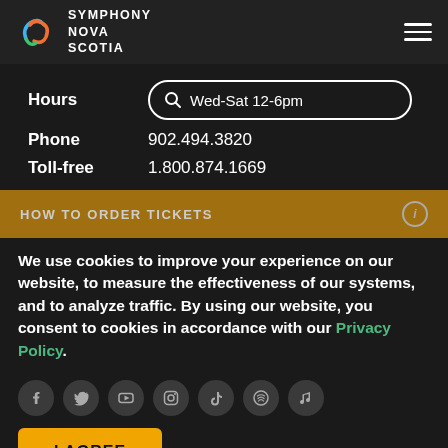Symphony Nova Scotia
Hours   Wed-Sat 12-6pm
Phone   902.494.3820
Toll-free   1.800.874.1669
HOW TO ORDER TICKETS
We use cookies to improve your experience on our website, to measure the effectiveness of our systems, and to analyze traffic. By using our website, you consent to cookies in accordance with our Privacy Policy.
[Figure (other): Social media icons row: Facebook, Twitter, YouTube, Instagram, TikTok, Spotify, Apple Music]
I AGREE
© Symphony Nova Scotia 2022 | All rights reserved. View our privacy policy.